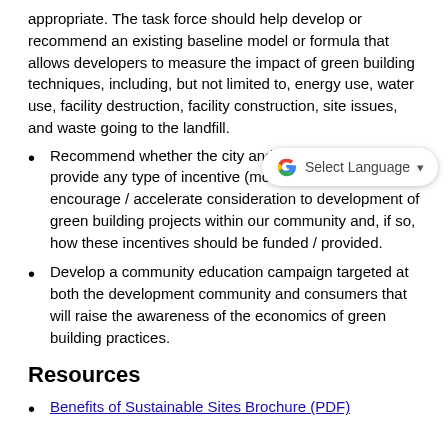appropriate. The task force should help develop or recommend an existing baseline model or formula that allows developers to measure the impact of green building techniques, including, but not limited to, energy use, water use, facility destruction, facility construction, site issues, and waste going to the landfill.
Recommend whether the city and county should provide any type of incentive (monetary or otherwise) to encourage / accelerate consideration to development of green building projects within our community and, if so, how these incentives should be funded / provided.
Develop a community education campaign targeted at both the development community and consumers that will raise the awareness of the economics of green building practices.
Resources
Benefits of Sustainable Sites Brochure (PDF)